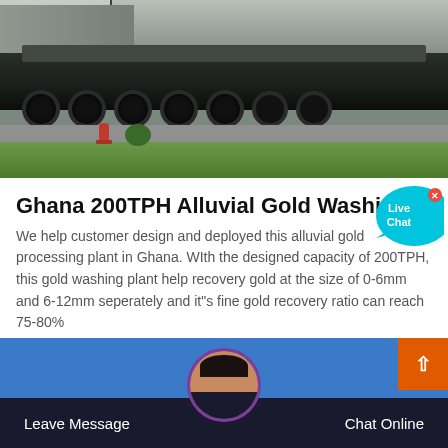[Figure (photo): Photograph of a large heavy industrial vehicle (likely a gold washing or mining machine) on a truck, parked on a road with green grass and a red fire hydrant visible in the foreground.]
Ghana 200TPH Alluvial Gold Washing
We help customer design and deployed this alluvial gold processing plant in Ghana. WIth the designed capacity of 200TPH, this gold washing plant help recovery gold at the size of 0-6mm and 6-12mm seperately and it"s fine gold recovery ratio can reach 75-80%
[Figure (screenshot): Live Chat bubble widget overlay with cyan circular icon and close button.]
Leave Message    Chat Online